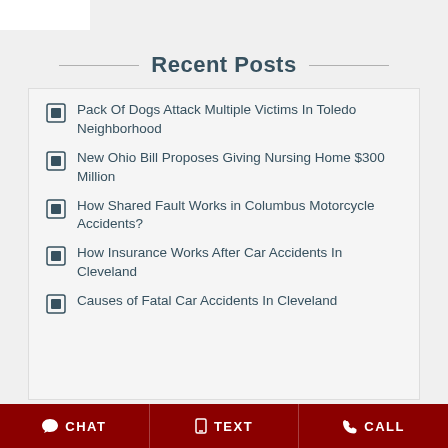Recent Posts
Pack Of Dogs Attack Multiple Victims In Toledo Neighborhood
New Ohio Bill Proposes Giving Nursing Home $300 Million
How Shared Fault Works in Columbus Motorcycle Accidents?
How Insurance Works After Car Accidents In Cleveland
Causes of Fatal Car Accidents In Cleveland
CHAT   TEXT   CALL